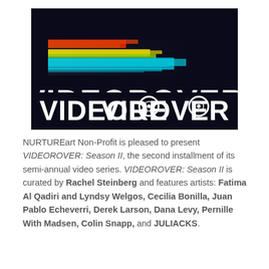[Figure (logo): VIDEOROVER logo on dark background with colorful horizontal light streaks (red, yellow, green, cyan) on the upper portion, and the word VIDEOROVER in large white stylized text below on black background.]
NURTUREart Non-Profit is pleased to present VIDEOROVER: Season II, the second installment of its semi-annual video series. VIDEOROVER: Season II is curated by Rachel Steinberg and features artists: Fatima Al Qadiri and Lyndsy Welgos, Cecilia Bonilla, Juan Pablo Echeverri, Derek Larson, Dana Levy, Pernille With Madsen, Colin Snapp, and JULIACKS.